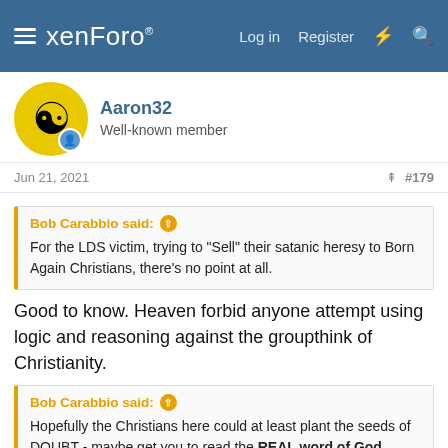xenForo — Log in  Register
Aaron32
Well-known member
Jun 21, 2021  #179
Bob Carabbio said:
For the LDS victim, trying to "Sell" their satanic heresy to Born Again Christians, there's no point at all.
Good to know. Heaven forbid anyone attempt using logic and reasoning against the groupthink of Christianity.
Bob Carabbio said:
Hopefully the Christians here could at least plant the seeds of DOUBT - maybe get you to read the REAL word of God instead of Joe Smith's garbage.
Sounds like atheist reasoning in Christian clothing.